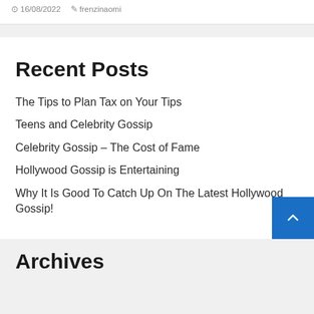16/08/2022   frenzinaomi
Recent Posts
The Tips to Plan Tax on Your Tips
Teens and Celebrity Gossip
Celebrity Gossip – The Cost of Fame
Hollywood Gossip is Entertaining
Why It Is Good To Catch Up On The Latest Hollywood Gossip!
Archives